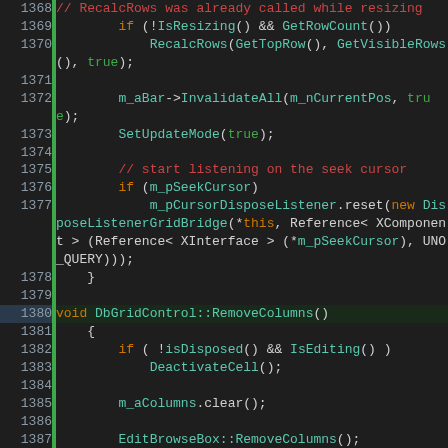[Figure (screenshot): Source code viewer showing C++ code for DbGridControl class methods, lines 1368-1394, with syntax highlighting on dark background. Line numbers in left gutter, green vertical bar, code content with colored keywords, function names, comments, and identifiers.]